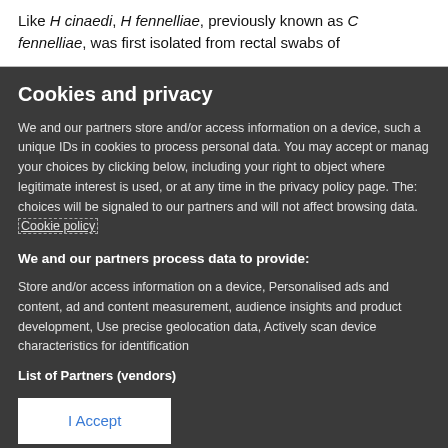Like H cinaedi, H fennelliae, previously known as C fennelliae, was first isolated from rectal swabs of
Cookies and privacy
We and our partners store and/or access information on a device, such as unique IDs in cookies to process personal data. You may accept or manage your choices by clicking below, including your right to object where legitimate interest is used, or at any time in the privacy policy page. These choices will be signaled to our partners and will not affect browsing data. Cookie policy
We and our partners process data to provide:
Store and/or access information on a device, Personalised ads and content, ad and content measurement, audience insights and product development, Use precise geolocation data, Actively scan device characteristics for identification
List of Partners (vendors)
I Accept